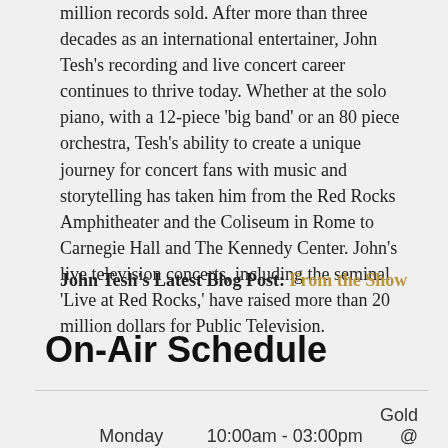million records sold. After more than three decades as an international entertainer, John Tesh's recording and live concert career continues to thrive today. Whether at the solo piano, with a 12-piece 'big band' or an 80 piece orchestra, Tesh's ability to create a unique journey for concert fans with music and storytelling has taken him from the Red Rocks Amphitheater and the Coliseum in Rome to Carnegie Hall and The Kennedy Center. John's live television concerts, including the seminal 'Live at Red Rocks,' have raised more than 20 million dollars for Public Television.
John Tesh's Latest Blog Post: From the Show
On-Air Schedule
| Day | Time | Show |
| --- | --- | --- |
| Monday | 10:00am - 03:00pm | Gold @ Work |